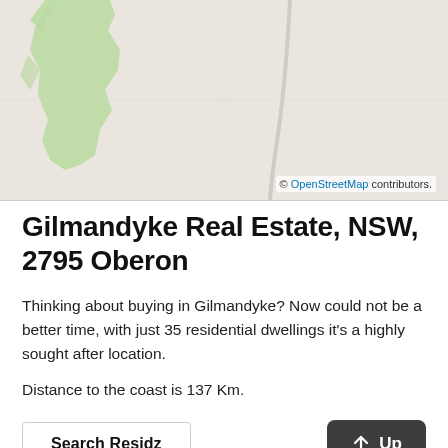[Figure (map): OpenStreetMap showing the Gilmandyke / Oberon area in NSW, Australia. Light beige background with green shaded region on the left side representing parkland or rural land. A light grey road/path curves from top-center downward. © OpenStreetMap contributors.]
Gilmandyke Real Estate, NSW, 2795 Oberon
Thinking about buying in Gilmandyke? Now could not be a better time, with just 35 residential dwellings it's a highly sought after location.
Distance to the coast is 137 Km.